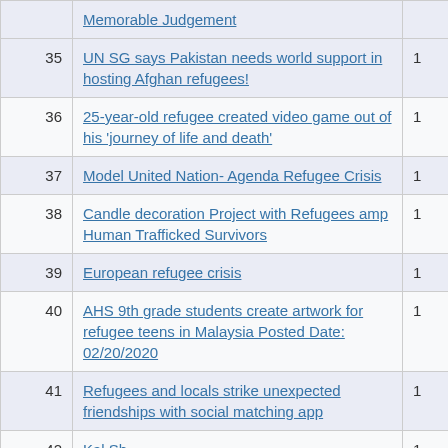| # | Title | Count |
| --- | --- | --- |
|  | Memorable Judgement |  |
| 35 | UN SG says Pakistan needs world support in hosting Afghan refugees! | 1 |
| 36 | 25-year-old refugee created video game out of his 'journey of life and death' | 1 |
| 37 | Model United Nation- Agenda Refugee Crisis | 1 |
| 38 | Candle decoration Project with Refugees amp Human Trafficked Survivors | 1 |
| 39 | European refugee crisis | 1 |
| 40 | AHS 9th grade students create artwork for refugee teens in Malaysia Posted Date: 02/20/2020 | 1 |
| 41 | Refugees and locals strike unexpected friendships with social matching app | 1 |
| 42 | ... | 1 |